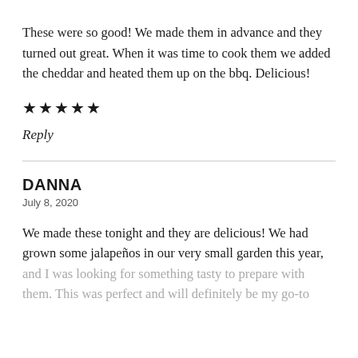These were so good! We made them in advance and they turned out great. When it was time to cook them we added the cheddar and heated them up on the bbq. Delicious!
★★★★★
Reply
DANNA
July 8, 2020
We made these tonight and they are delicious! We had grown some jalapeños in our very small garden this year, and I was looking for something tasty to prepare with them. This was perfect and will definitely be my go-to